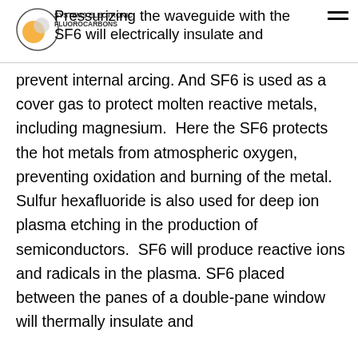SYSTEMS ELECTRONIC FLUOROCARBONS — Pressurizing the waveguide with the SF6 will electrically insulate and
prevent internal arcing. And SF6 is used as a cover gas to protect molten reactive metals, including magnesium.  Here the SF6 protects the hot metals from atmospheric oxygen, preventing oxidation and burning of the metal. Sulfur hexafluoride is also used for deep ion plasma etching in the production of semiconductors.  SF6 will produce reactive ions and radicals in the plasma. SF6 placed between the panes of a double-pane window will thermally insulate and